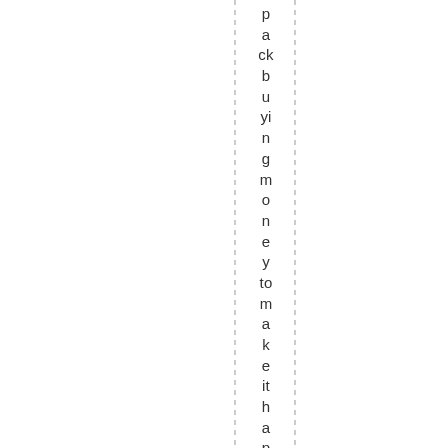p a ck b u yi n g m o n e y to m a k e it h a p p e n. Well, of